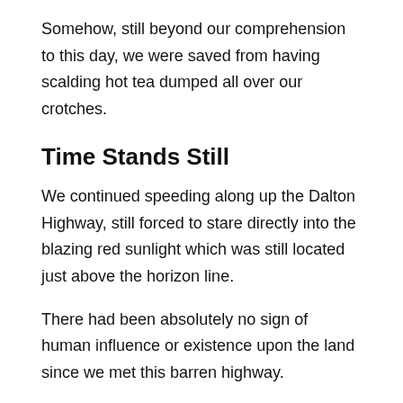Somehow, still beyond our comprehension to this day, we were saved from having scalding hot tea dumped all over our crotches.
Time Stands Still
We continued speeding along up the Dalton Highway, still forced to stare directly into the blazing red sunlight which was still located just above the horizon line.
There had been absolutely no sign of human influence or existence upon the land since we met this barren highway.